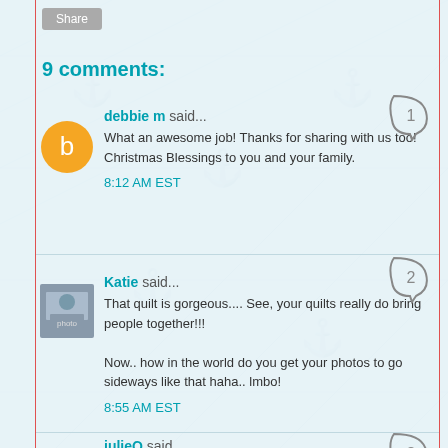Share
9 comments:
debbie m said...
What an awesome job! Thanks for sharing with us too!
Christmas Blessings to you and your family.
8:12 AM EST
Katie said...
That quilt is gorgeous.... See, your quilts really do bring people together!!!

Now.. how in the world do you get your photos to go sideways like that haha.. lmbo!
8:55 AM EST
julieQ said...
Wow, that is a ton of quilts for a great cause!